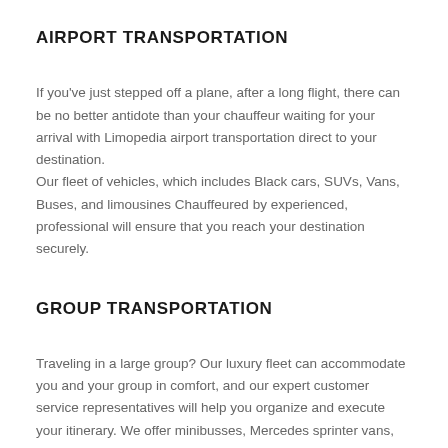AIRPORT TRANSPORTATION
If you've just stepped off a plane, after a long flight, there can be no better antidote than your chauffeur waiting for your arrival with Limopedia airport transportation direct to your destination.
Our fleet of vehicles, which includes Black cars, SUVs, Vans, Buses, and limousines Chauffeured by experienced, professional will ensure that you reach your destination securely.
GROUP TRANSPORTATION
Traveling in a large group? Our luxury fleet can accommodate you and your group in comfort, and our expert customer service representatives will help you organize and execute your itinerary. We offer minibusses, Mercedes sprinter vans, and luxury motor coaches. Our